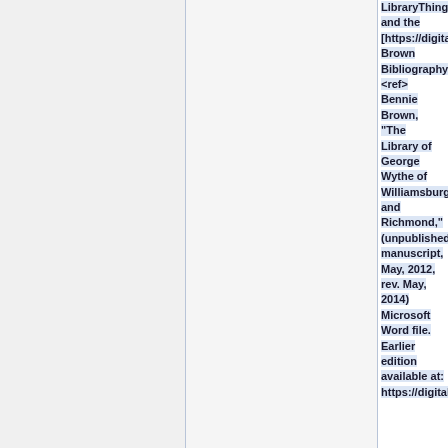LibraryThing and the [https://digitalarchive.wm.edu/handle/10288/13433 Brown Bibliography] <ref> Bennie Brown, "The Library of George Wythe of Williamsburg and Richmond," (unpublished manuscript, May, 2012, rev. May, 2014) Microsoft Word file. Earlier edition available at: https://digitalarchive.wm.edu/h